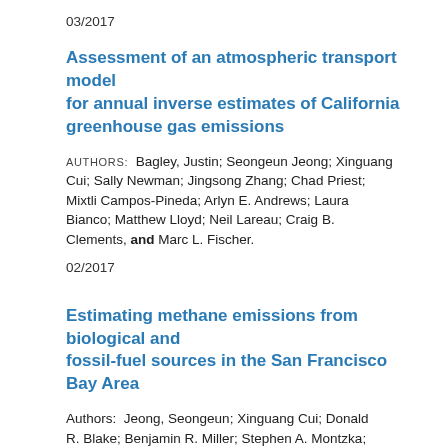03/2017
Assessment of an atmospheric transport model for annual inverse estimates of California greenhouse gas emissions
AUTHORS:  Bagley, Justin; Seongeun Jeong; Xinguang Cui; Sally Newman; Jingsong Zhang; Chad Priest; Mixtli Campos-Pineda; Arlyn E. Andrews; Laura Bianco; Matthew Lloyd; Neil Lareau; Craig B. Clements, and Marc L. Fischer.
02/2017
Estimating methane emissions from biological and fossil-fuel sources in the San Francisco Bay Area
AUTHORS:  Jeong, Seongeun; Xinguang Cui; Donald R. Blake; Benjamin R. Miller; Stephen A. Montzka;